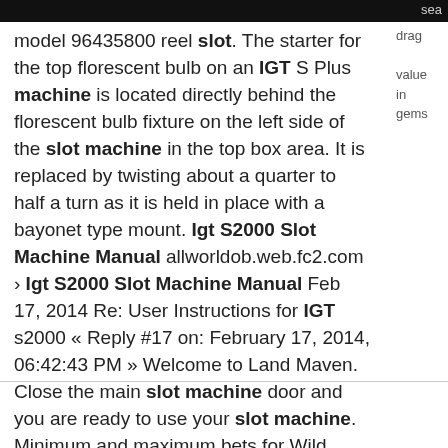sea
model 96435800 reel slot. The starter for the top florescent bulb on an IGT S Plus machine is located directly behind the florescent bulb fixture on the left side of the slot machine in the top box area. It is replaced by twisting about a quarter to half a turn as it is held in place with a bayonet type mount. Igt S2000 Slot Machine Manual allworldob.web.fc2.com › Igt S2000 Slot Machine Manual Feb 17, 2014 Re: User Instructions for IGT s2000 « Reply #17 on: February 17, 2014, 06:42:43 PM » Welcome to Land Maven. Close the main slot machine door and you are ready to use your slot machine. Minimum and maximum bets for Wild Panda Pokie are 0.10 and 50 units of currency, respectively. The pagoda is the most valuable slot you will find when
drag
value
in
gems